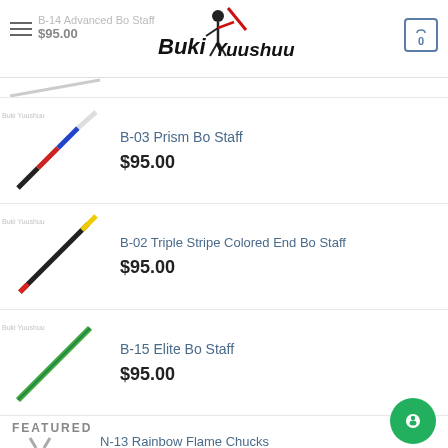Buki Yuushuu — navigation header with logo and cart
[Figure (screenshot): Product thumbnail: B-14 Advanced Bo Staff (partially visible at top)]
B-14 Advanced Bo Staff
$95.00
[Figure (photo): Product thumbnail: B-03 Prism Bo Staff — diagonal multicolored staff]
B-03 Prism Bo Staff
$95.00
[Figure (photo): Product thumbnail: B-02 Triple Stripe Colored End Bo Staff — diagonal staff with colored ends]
B-02 Triple Stripe Colored End Bo Staff
$95.00
[Figure (photo): Product thumbnail: B-15 Elite Bo Staff — diagonal green staff]
B-15 Elite Bo Staff
$95.00
FEATURED
[Figure (photo): Product thumbnail: N-13 Rainbow Flame Chucks — nunchucks]
N-13 Rainbow Flame Chucks